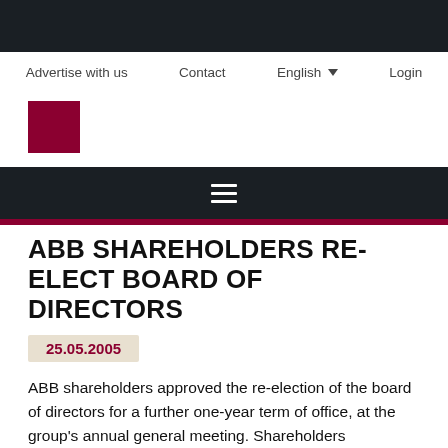Advertise with us   Contact   English   Login
[Figure (logo): Dark red square logo]
≡ (hamburger menu)
ABB SHAREHOLDERS RE-ELECT BOARD OF DIRECTORS
25.05.2005
ABB shareholders approved the re-election of the board of directors for a further one-year term of office, at the group's annual general meeting. Shareholders overwhelmingly voted in favor of reappointing the board, which is made up of eight